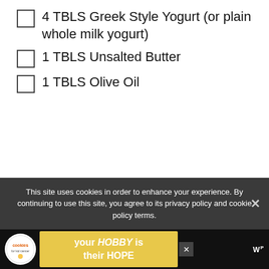4 TBLS Greek Style Yogurt (or plain whole milk yogurt)
1 TBLS Unsalted Butter
1 TBLS Olive Oil
[Figure (other): Light gray placeholder advertisement image area]
This site uses cookies in order to enhance your experience. By continuing to use this site, you agree to its privacy policy and cookie policy terms.
[Figure (other): Advertisement banner: cookies for kid cancer logo and 'your HOBBY is their HOPE' text on yellow background]